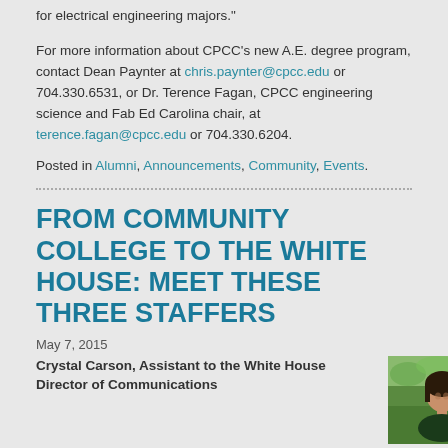for electrical engineering majors."
For more information about CPCC's new A.E. degree program, contact Dean Paynter at chris.paynter@cpcc.edu or 704.330.6531, or Dr. Terence Fagan, CPCC engineering science and Fab Ed Carolina chair, at terence.fagan@cpcc.edu or 704.330.6204.
Posted in Alumni, Announcements, Community, Events.
FROM COMMUNITY COLLEGE TO THE WHITE HOUSE: MEET THESE THREE STAFFERS
May 7, 2015
Crystal Carson, Assistant to the White House Director of Communications
[Figure (photo): Photo of Crystal Carson outdoors with green foliage background]